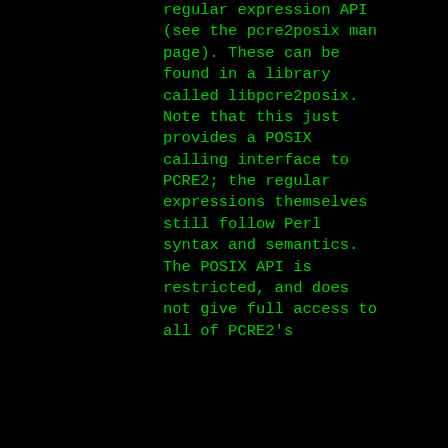regular expression API (see the pcre2posix man page). These can be found in a library called libpcre2posix. Note that this just provides a POSIX calling interface to PCRE2; the regular expressions themselves still follow Perl syntax and semantics. The POSIX API is restricted, and does not give full access to all of PCRE2's